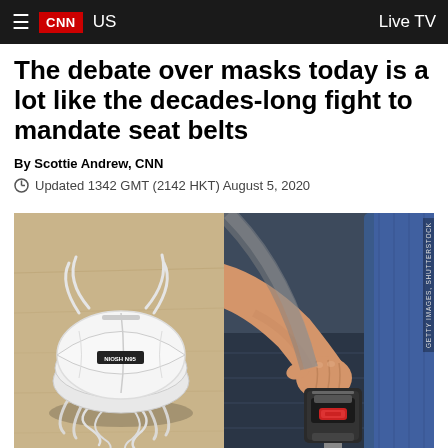CNN US | Live TV
The debate over masks today is a lot like the decades-long fight to mandate seat belts
By Scottie Andrew, CNN
Updated 1342 GMT (2142 HKT) August 5, 2020
[Figure (photo): Two side-by-side photos: left shows a white N95 mask folded on a wooden surface; right shows a hand buckling a seat belt in a car.]